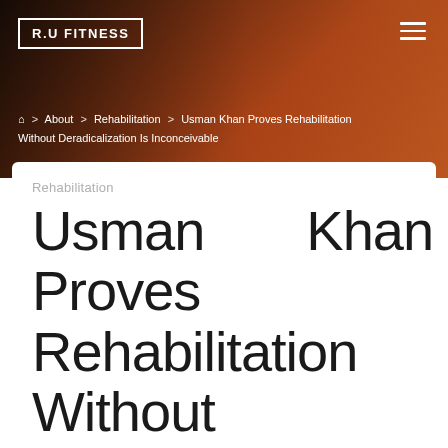R.U FITNESS
Home > About > Rehabilitation > Usman Khan Proves Rehabilitation Without Deradicalization Is Inconceivable
Rehabilitation
Usman Khan Proves Rehabilitation Without